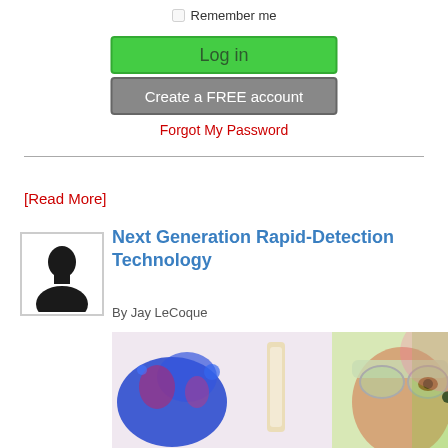Remember me
Log in
Create a FREE account
Forgot My Password
[Read More]
[Figure (photo): Silhouette avatar placeholder image of a person]
Next Generation Rapid-Detection Technology
By Jay LeCoque
[Figure (photo): Scientific image showing blue liquid/bubbles alongside a person wearing protective goggles and safety equipment]